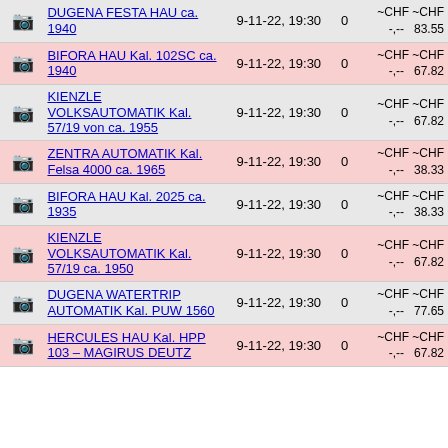|  | Item | Date | Bids | Price |
| --- | --- | --- | --- | --- |
| 📷 | DUGENA FESTA HAU ca. 1940 | 9-11-22, 19:30 | 0 | ~CHF -,--  ~CHF 83.55 |
| 📷 | BIFORA HAU Kal. 102SC ca. 1940 | 9-11-22, 19:30 | 0 | ~CHF -,--  ~CHF 67.82 |
| 📷 | KIENZLE VOLKSAUTOMATIK Kal. 57/19 von ca. 1955 | 9-11-22, 19:30 | 0 | ~CHF -,--  ~CHF 67.82 |
| 📷 | ZENTRA AUTOMATIK Kal. Felsa 4000 ca. 1965 | 9-11-22, 19:30 | 0 | ~CHF -,--  ~CHF 38.33 |
| 📷 | BIFORA HAU Kal. 2025 ca. 1935 | 9-11-22, 19:30 | 0 | ~CHF -,--  ~CHF 38.33 |
| 📷 | KIENZLE VOLKSAUTOMATIK Kal. 57/19 ca. 1950 | 9-11-22, 19:30 | 0 | ~CHF -,--  ~CHF 67.82 |
| 📷 | DUGENA WATERTRIP AUTOMATIK Kal. PUW 1560 | 9-11-22, 19:30 | 0 | ~CHF -,--  ~CHF 77.65 |
| 📷 | HERCULES HAU Kal. HPP 103 – MAGIRUS DEUTZ | 9-11-22, 19:30 | 0 | ~CHF -,--  ~CHF 67.82 |